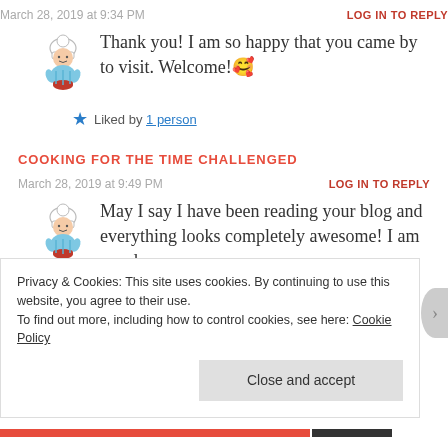March 28, 2019 at 9:34 PM
LOG IN TO REPLY
[Figure (illustration): Chef avatar illustration - cartoon character in chef hat holding a bowl]
Thank you! I am so happy that you came by to visit. Welcome! 🥰
★ Liked by 1 person
COOKING FOR THE TIME CHALLENGED
March 28, 2019 at 9:49 PM
LOG IN TO REPLY
[Figure (illustration): Chef avatar illustration - cartoon character in chef hat holding a bowl]
May I say I have been reading your blog and everything looks completely awesome! I am awed.
Privacy & Cookies: This site uses cookies. By continuing to use this website, you agree to their use. To find out more, including how to control cookies, see here: Cookie Policy
Close and accept